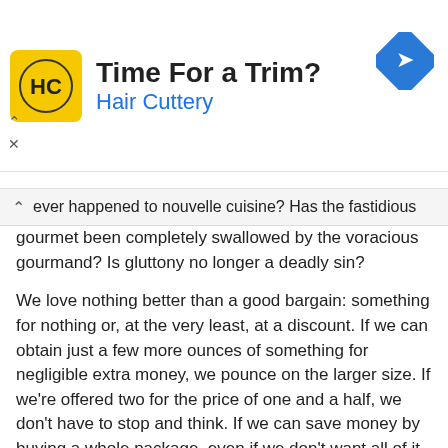[Figure (screenshot): Hair Cuttery advertisement banner with yellow logo showing HC initials, text 'Time For a Trim?' and 'Hair Cuttery' in blue, and a blue diamond-shaped arrow icon on the right]
ever happened to nouvelle cuisine? Has the fastidious gourmet been completely swallowed by the voracious gourmand? Is gluttony no longer a deadly sin?
We love nothing better than a good bargain: something for nothing or, at the very least, at a discount. If we can obtain just a few more ounces of something for negligible extra money, we pounce on the larger size. If we're offered two for the price of one and a half, we don't have to stop and think. If we can save money by buying a whole package, even if we don't want all of it, we'll do it because it makes economic sense (ah, the birth of super size!)
Where did we get the idea that bigger is better? Is it the